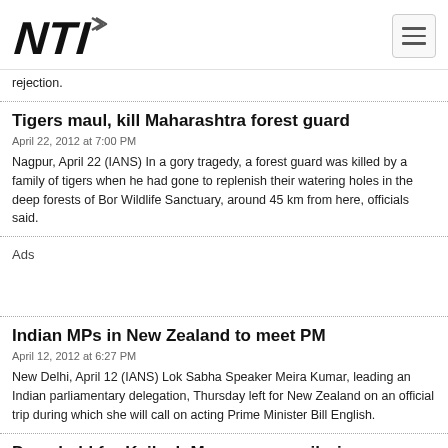NTI logo and navigation
rejection.
Tigers maul, kill Maharashtra forest guard
April 22, 2012 at 7:00 PM
Nagpur, April 22 (IANS) In a gory tragedy, a forest guard was killed by a family of tigers when he had gone to replenish their watering holes in the deep forests of Bor Wildlife Sanctuary, around 45 km from here, officials said.
Ads
Indian MPs in New Zealand to meet PM
April 12, 2012 at 6:27 PM
New Delhi, April 12 (IANS) Lok Sabha Speaker Meira Kumar, leading an Indian parliamentary delegation, Thursday left for New Zealand on an official trip during which she will call on acting Prime Minister Bill English.
Draw held for Kailash Manasarovar pilgrimage